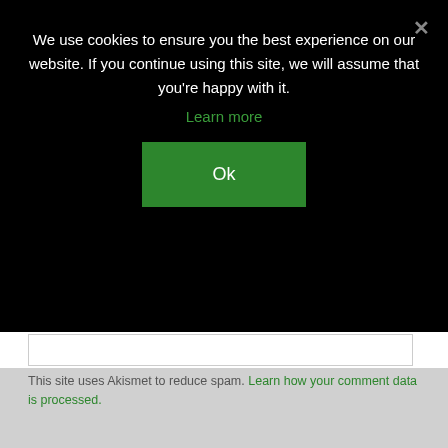We use cookies to ensure you the best experience on our website. If you continue using this site, we will assume that you're happy with it.
Learn more
Ok
This site uses Akismet to reduce spam. Learn how your comment data is processed.
[Figure (photo): Circular cropped photo of a woman wearing a gray knit hat and scarf, with text overlay 'Hi! I'm Abby' at bottom]
Whether you're naming a baby, or just all about names, you've come to the right place!
Appellation Mountain is a